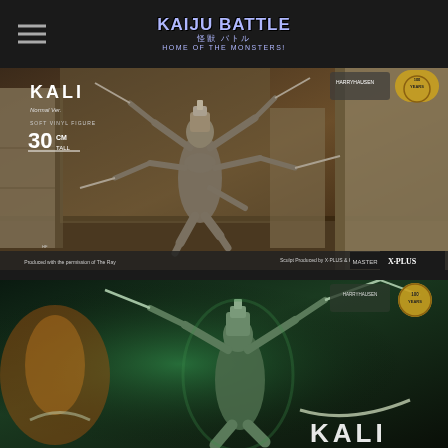Kaiju Battle 怪獣バトル HOME OF THE MONSTERS!
[Figure (photo): Kali soft vinyl figure Normal Ver. 30cm tall - stone-colored multi-armed deity figure wielding swords, set against ancient temple ruins backdrop. X-Plus figure. Produced with permission of The Ray Harryhausen Foundation.]
[Figure (photo): Second Kali figure variant shown in green/teal lighting against dark cave background, partially visible. Multi-armed deity holding curved blades.]